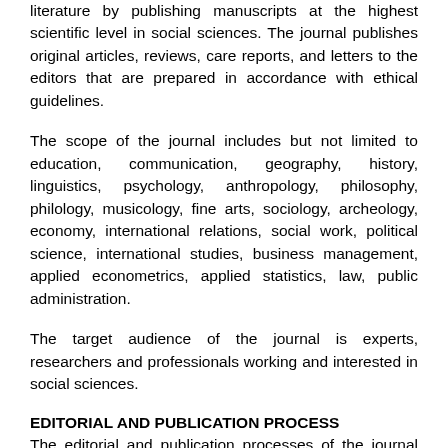literature by publishing manuscripts at the highest scientific level in social sciences. The journal publishes original articles, reviews, care reports, and letters to the editors that are prepared in accordance with ethical guidelines.
The scope of the journal includes but not limited to education, communication, geography, history, linguistics, psychology, anthropology, philosophy, philology, musicology, fine arts, sociology, archeology, economy, international relations, social work, political science, international studies, business management, applied econometrics, applied statistics, law, public administration.
The target audience of the journal is experts, researchers and professionals working and interested in social sciences.
EDITORIAL AND PUBLICATION PROCESS
The editorial and publication processes of the journal are shaped in accordance with the guidelines of the Council of Science Editors (CSE), the Committee on Publication Ethics (COPE), the European Association of Science Editors (EASE), and National Information Standards Organization (NISO). The journal conforms to the Principles of Transparency and Best Practice in Scholarly